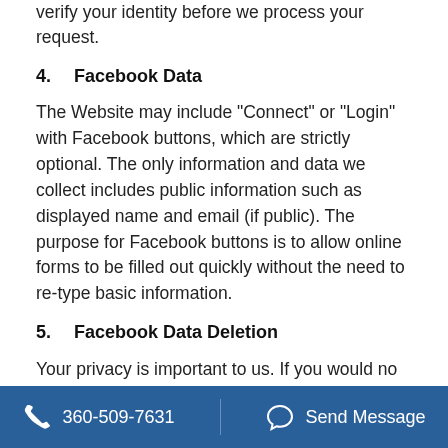verify your identity before we process your request.
4.  Facebook Data
The Website may include "Connect" or "Login" with Facebook buttons, which are strictly optional. The only information and data we collect includes public information such as displayed name and email (if public). The purpose for Facebook buttons is to allow online forms to be filled out quickly without the need to re-type basic information.
5.  Facebook Data Deletion
Your privacy is important to us. If you would no longer like to connect your Facebook account on our website, please contact us at integrations@agentmarketing.com with your
360-509-7631   Send Message